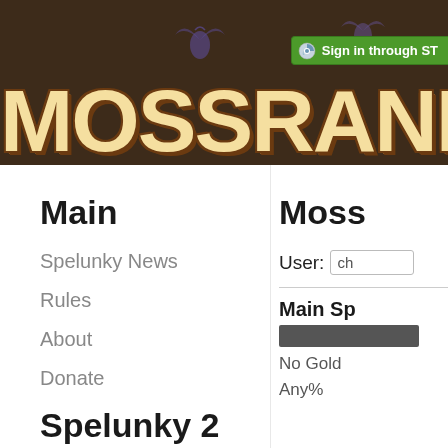[Figure (screenshot): MossRanking website header banner with brown background, large stylized MOSSRANKING logo text in tan/cream color with dark outline, purple bat decorations, and a green Steam sign-in button in the top right corner]
Main
Spelunky News
Rules
About
Donate
Spelunky 2
Moss
User: ch
Main Sp
No Gold
Any%